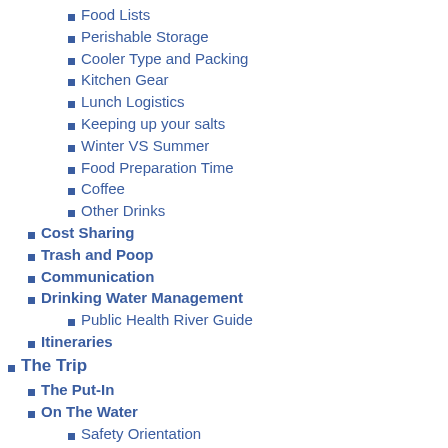Food Lists
Perishable Storage
Cooler Type and Packing
Kitchen Gear
Lunch Logistics
Keeping up your salts
Winter VS Summer
Food Preparation Time
Coffee
Other Drinks
Cost Sharing
Trash and Poop
Communication
Drinking Water Management
Public Health River Guide
Itineraries
The Trip
The Put-In
On The Water
Safety Orientation
Bow-line Safety
River Safety